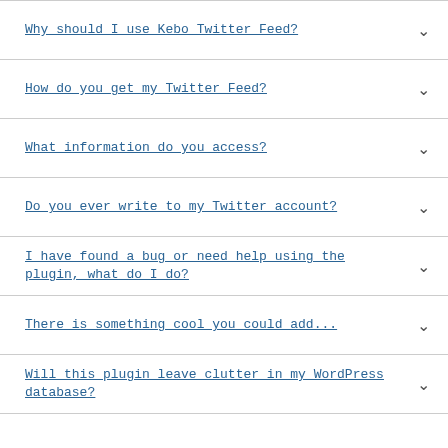Why should I use Kebo Twitter Feed?
How do you get my Twitter Feed?
What information do you access?
Do you ever write to my Twitter account?
I have found a bug or need help using the plugin, what do I do?
There is something cool you could add...
Will this plugin leave clutter in my WordPress database?